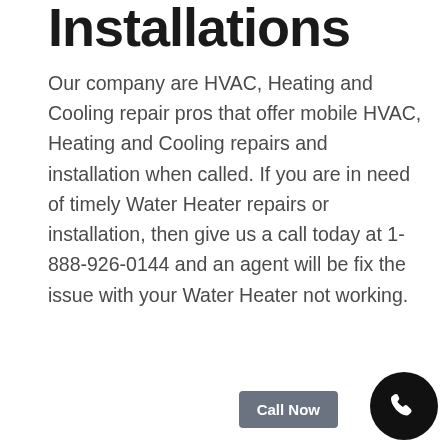Installations
Our company are HVAC, Heating and Cooling repair pros that offer mobile HVAC, Heating and Cooling repairs and installation when called. If you are in need of timely Water Heater repairs or installation, then give us a call today at 1-888-926-0144 and an agent will be fix the issue with your Water Heater not working.